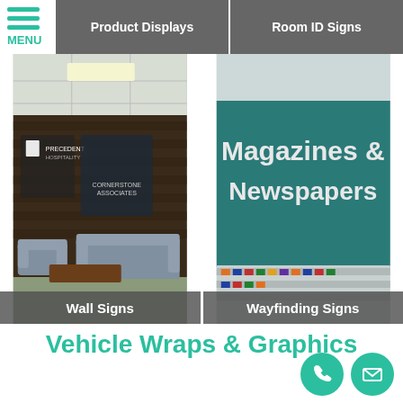[Figure (screenshot): Navigation menu icon with three teal horizontal lines and MENU text below]
Product Displays
Room ID Signs
[Figure (photo): Office lobby/waiting room with branded wall signs (Precedent Hospitality, Cornerstone Associates), sofas and coffee table. Label: Wall Signs]
[Figure (photo): Teal sign reading 'Magazines & Newspapers' in a store/library setting. Label: Wayfinding Signs]
Vehicle Wraps & Graphics
[Figure (other): Phone icon in teal circle]
[Figure (other): Email/envelope icon in teal circle]